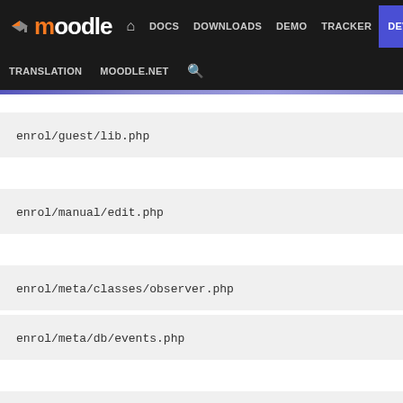moodle — DOCS DOWNLOADS DEMO TRACKER DEV | TRANSLATION MOODLE.NET
enrol/guest/lib.php
enrol/manual/edit.php
enrol/meta/classes/observer.php
enrol/meta/db/events.php
enrol/meta/tests/plugin_test.php